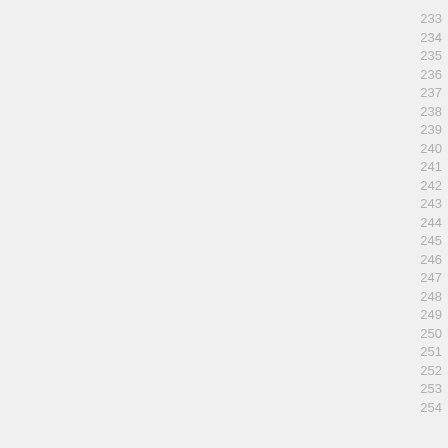233
234
235
236
237
238
239
240
241
242
243
244
245
246
247
248
249
250
251
252
253
254